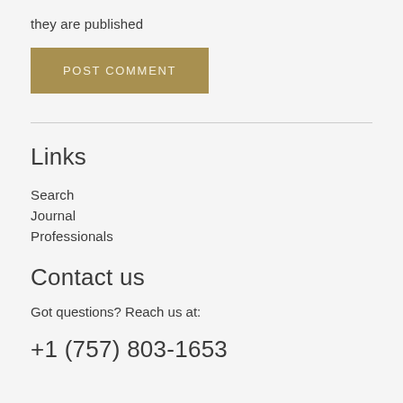they are published
POST COMMENT
Links
Search
Journal
Professionals
Contact us
Got questions? Reach us at:
+1 (757) 803-1653